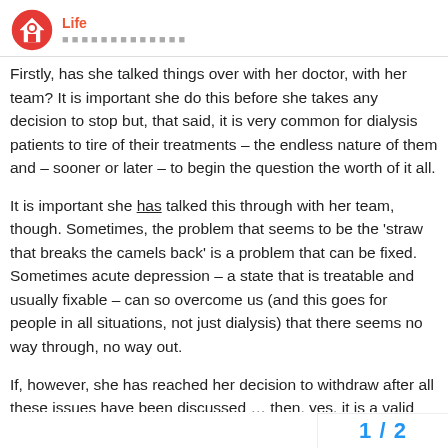Life
Firstly, has she talked things over with her doctor, with her team? It is important she do this before she takes any decision to stop but, that said, it is very common for dialysis patients to tire of their treatments – the endless nature of them and – sooner or later – to begin the question the worth of it all.
It is important she has talked this through with her team, though. Sometimes, the problem that seems to be the 'straw that breaks the camels back' is a problem that can be fixed. Sometimes acute depression – a state that is treatable and usually fixable – can so overcome us (and this goes for people in all situations, not just dialysis) that there seems no way through, no way out.
If, however, she has reached her decision to withdraw after all these issues have been discussed … then, yes, it is a valid and common decision which countless dialysis patients have made before her (and will make after her) but one for which she will need all the support and care and love and courage that you and her other friends and family can muste
1 / 2